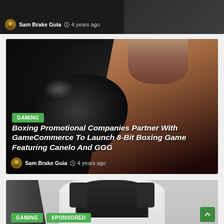[Figure (screenshot): Partial top of an article card showing avatar, author name Sam Brake Guia, and timestamp 4 years ago on dark background]
[Figure (photo): Article card with boxing image (fighter with black gloves on dark background). Badge: GAMING. Title: Boxing Promotional Companies Partner With GameCommerce To Launch 8-Bit Boxing Game Featuring Canelo And GGG. Author: Sam Brake Guia, 4 years ago.]
Boxing Promotional Companies Partner With GameCommerce To Launch 8-Bit Boxing Game Featuring Canelo And GGG
[Figure (photo): Partial bottom card showing a gaming chair (black and white) with GAMING and SPONSORED badges and a green scroll-to-top button]